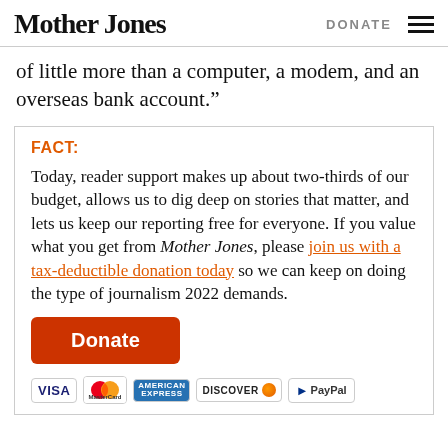Mother Jones | DONATE
of little more than a computer, a modem, and an overseas bank account.”
FACT:
Today, reader support makes up about two-thirds of our budget, allows us to dig deep on stories that matter, and lets us keep our reporting free for everyone. If you value what you get from Mother Jones, please join us with a tax-deductible donation today so we can keep on doing the type of journalism 2022 demands.
[Figure (other): Orange Donate button followed by payment icons: VISA, Mastercard, American Express, Discover, PayPal]